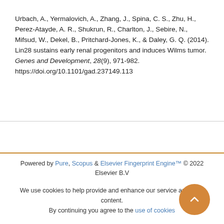Urbach, A., Yermalovich, A., Zhang, J., Spina, C. S., Zhu, H., Perez-Atayde, A. R., Shukrun, R., Charlton, J., Sebire, N., Mifsud, W., Dekel, B., Pritchard-Jones, K., & Daley, G. Q. (2014). Lin28 sustains early renal progenitors and induces Wilms tumor. Genes and Development, 28(9), 971-982. https://doi.org/10.1101/gad.237149.113
Powered by Pure, Scopus & Elsevier Fingerprint Engine™ © 2022 Elsevier B.V
We use cookies to help provide and enhance our service and tailor content. By continuing you agree to the use of cookies
Log in to Pure
About web accessibility